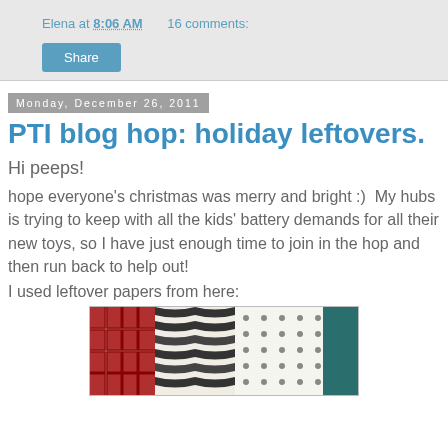Elena at 8:06 AM   16 comments:
Share
Monday, December 26, 2011
PTI blog hop: holiday leftovers.
Hi peeps!
hope everyone's christmas was merry and bright :)  My hubs is trying to keep with all the kids' battery demands for all their new toys, so I have just enough time to join in the hop and then run back to help out!
I used leftover papers from here:
[Figure (photo): Rolled/stacked decorative papers with plaid, zebra, and polka dot patterns in holiday colors]